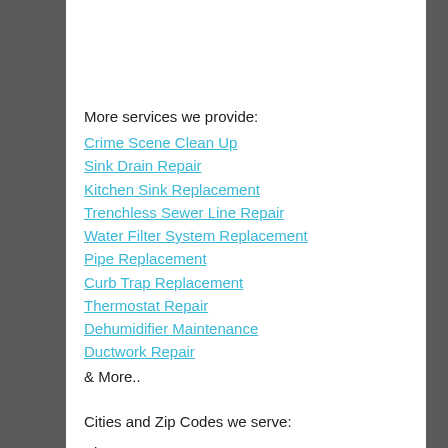More services we provide:
Crime Scene Clean Up
Sink Drain Repair
Kitchen Sink Replacement
Trenchless Sewer Line Repair
Water Filter System Replacement
Pipe Replacement
Curb Trap Replacement
Thermostat Repair
Dehumidifier Maintenance
Ductwork Repair
& More..
Cities and Zip Codes we serve:
El Monte , 91206 , 90042 , 91210 , 90305 , 90609 ,